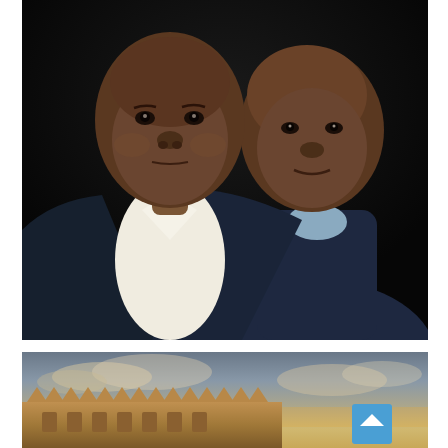[Figure (photo): Professional portrait photograph of two men in dark suits against a black background. The man in the foreground wears a dark navy suit with a white dress shirt. The man behind him wears a dark checked suit with a light blue shirt and tie, and has a small circular pin/badge on his lapel.]
[Figure (photo): Exterior photograph of a building with distinctive stepped/toothed roofline architecture, photographed at dusk or sunset with a colorful sky in the background. A blue scroll-to-top button is visible in the lower right area.]